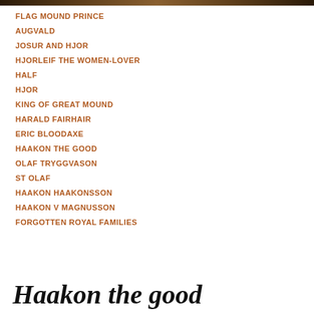FLAG MOUND PRINCE
AUGVALD
JOSUR AND HJOR
HJORLEIF THE WOMEN-LOVER
HALF
HJOR
KING OF GREAT MOUND
HARALD FAIRHAIR
ERIC BLOODAXE
HAAKON THE GOOD
OLAF TRYGGVASON
ST OLAF
HAAKON HAAKONSSON
HAAKON V MAGNUSSON
FORGOTTEN ROYAL FAMILIES
Haakon the good